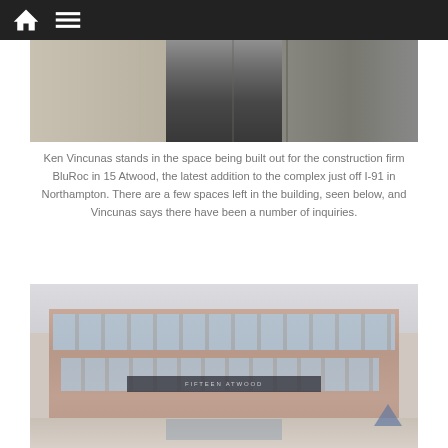[Figure (screenshot): Dark navigation bar with home icon and hamburger menu icon on dark background]
[Figure (photo): Ken Vincunas standing in an interior construction space, partially visible torso in dark jacket against metal frame structure]
Ken Vincunas stands in the space being built out for the construction firm BluRoc in 15 Atwood, the latest addition to the complex just off I-91 in Northampton. There are a few spaces left in the building, seen below, and Vincunas says there have been a number of inquiries.
[Figure (photo): Exterior photo of 15 Atwood building, a multi-story brick commercial building with large windows and a dark sign reading FIFTEEN ATWOOD above the entrance]